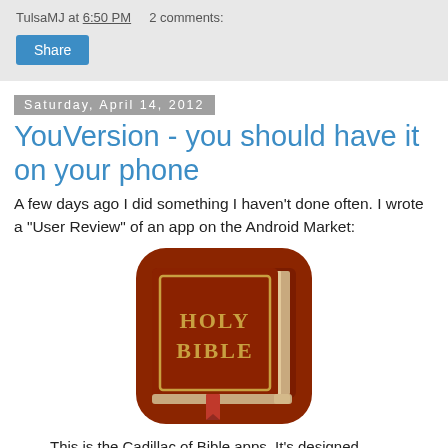TulsaMJ at 6:50 PM    2 comments:
[Figure (screenshot): Share button (blue)]
Saturday, April 14, 2012
YouVersion - you should have it on your phone
A few days ago I did something I haven't done often. I wrote a "User Review" of an app on the Android Market:
[Figure (illustration): YouVersion Bible app icon - brown book with gold text HOLY BIBLE and red bookmark]
This is the Cadillac of Bible apps. It's designed simply to get you reading the Bible; it has very little in the way of study tools such as cross-